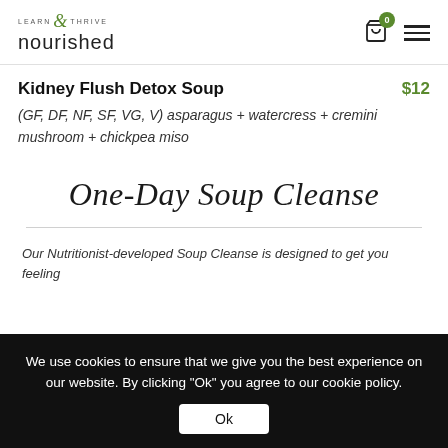LEARN & THRIVE nourished — navigation with cart (0) and menu icons
Kidney Flush Detox Soup
$12
(GF, DF, NF, SF, VG, V) asparagus + watercress + cremini mushroom + chickpea miso
One-Day Soup Cleanse
Our Nutritionist-developed Soup Cleanse is designed to get you feeling
We use cookies to ensure that we give you the best experience on our website. By clicking "Ok" you agree to our cookie policy.